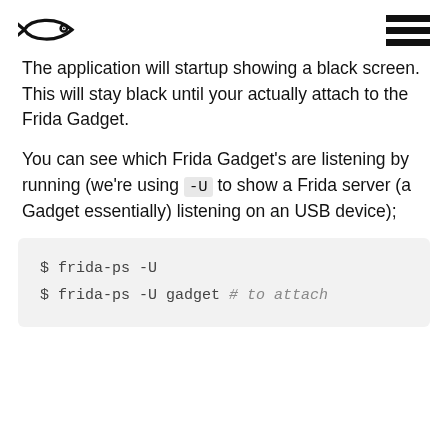[Frida logo] [hamburger menu]
The application will startup showing a black screen. This will stay black until your actually attach to the Frida Gadget.
You can see which Frida Gadget's are listening by running (we're using -U to show a Frida server (a Gadget essentially) listening on an USB device);
$ frida-ps -U
$ frida-ps -U gadget # to attach